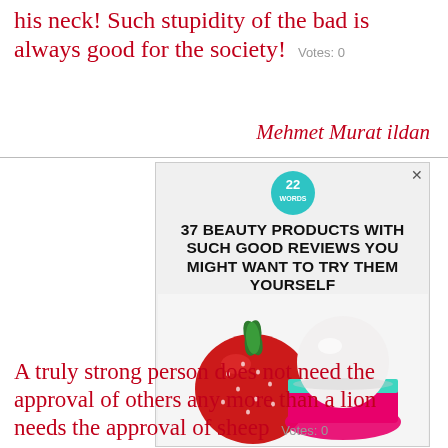his neck! Such stupidity of the bad is always good for the society!  Votes: 0
Mehmet Murat ildan
[Figure (photo): Advertisement banner showing '22 WORDS' logo, headline '37 BEAUTY PRODUCTS WITH SUCH GOOD REVIEWS YOU MIGHT WANT TO TRY THEM YOURSELF', with a strawberry and EOS lip balm product against a white background.]
A truly strong person does not need the approval of others any more than a lion needs the approval of sheep  Votes: 0